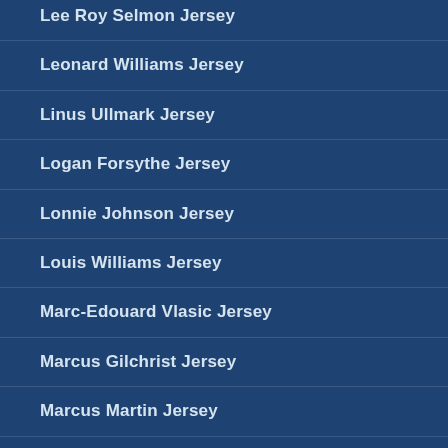Lee Roy Selmon Jersey
Leonard Williams Jersey
Linus Ullmark Jersey
Logan Forsythe Jersey
Lonnie Johnson Jersey
Louis Williams Jersey
Marc-Edouard Vlasic Jersey
Marcus Gilchrist Jersey
Marcus Martin Jersey
Mark Stone Jersey
Markus Hannikainen Jersey